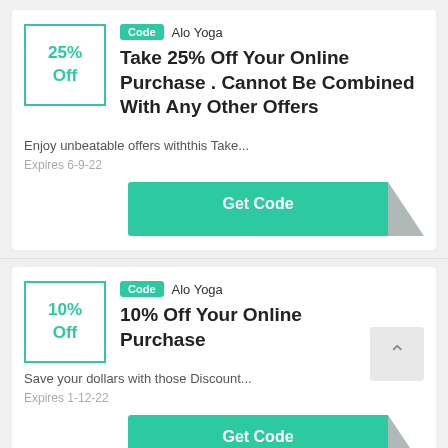[Figure (other): Coupon card for Alo Yoga: 25% Off badge in teal-bordered box, Code label, store name 'Alo Yoga', title 'Take 25% Off Your Online Purchase . Cannot Be Combined With Any Other Offers', description 'Enjoy unbeatable offers withthis Take...', expiry 'Expires 6-9-22', Get Code button]
[Figure (other): Coupon card for Alo Yoga: 10% Off badge in teal-bordered box, Code label, store name 'Alo Yoga', title '10% Off Your Online Purchase', description 'Save your dollars with those Discount...', expiry 'Expires 1-12-22', Get Code button (partially visible)]